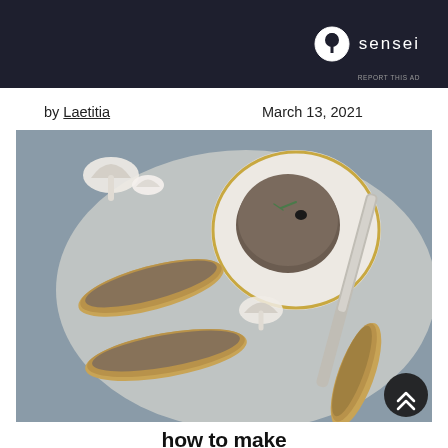[Figure (logo): Sensei brand advertisement banner with dark navy background, Sensei tree logo and wordmark in white]
REPORT THIS AD
by Laetitia   March 13, 2021
[Figure (photo): Overhead food photo showing mushroom pâté spread on baguette slices, a round portion of pâté on a white plate with gold rim, sliced mushrooms, a butter knife, and a linen cloth on a blue-grey surface]
how to make